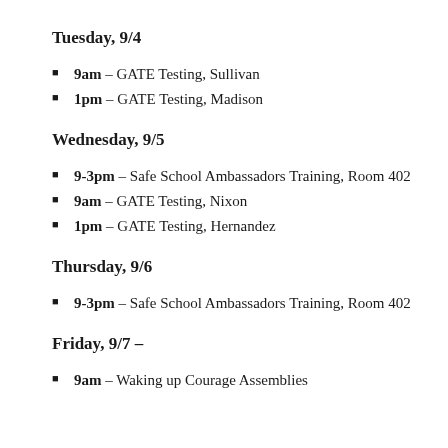Tuesday, 9/4
9am – GATE Testing, Sullivan
1pm – GATE Testing, Madison
Wednesday, 9/5
9-3pm – Safe School Ambassadors Training, Room 402
9am – GATE Testing, Nixon
1pm – GATE Testing, Hernandez
Thursday, 9/6
9-3pm – Safe School Ambassadors Training, Room 402
Friday, 9/7 –
9am – Waking up Courage Assemblies